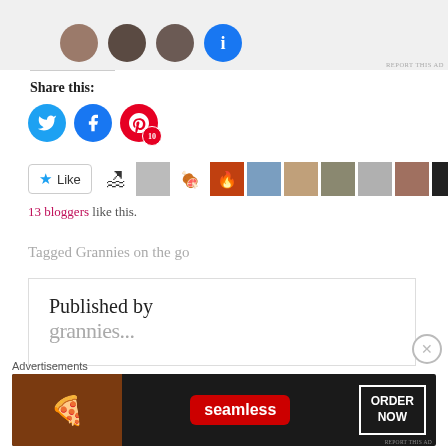[Figure (screenshot): Top ad section with profile photo avatars and a blue circle button, with 'REPORT THIS AD' text in bottom right]
Share this:
[Figure (screenshot): Social sharing buttons: Twitter (blue bird icon), Facebook (blue f icon), Pinterest (red P icon with badge showing 10)]
[Figure (screenshot): Like button with star and blogger avatar thumbnails row showing 9 small profile images]
13 bloggers like this.
Tagged Grannies on the go
Published by
[Figure (screenshot): Seamless food delivery advertisement banner showing pizza and ORDER NOW button]
Advertisements